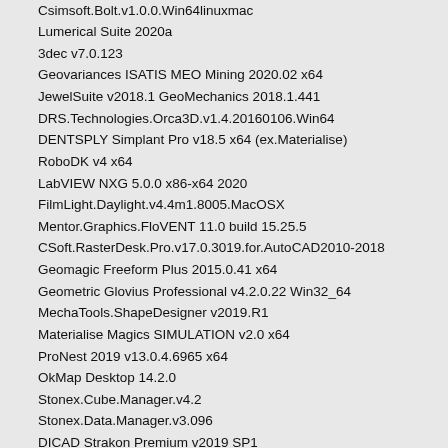Csimsoft.Bolt.v1.0.0.Win64linuxmac
Lumerical Suite 2020a
3dec v7.0.123
Geovariances ISATIS MEO Mining 2020.02 x64
JewelSuite v2018.1 GeoMechanics 2018.1.441
DRS.Technologies.Orca3D.v1.4.20160106.Win64
DENTSPLY Simplant Pro v18.5 x64 (ex.Materialise)
RoboDK v4 x64
LabVIEW NXG 5.0.0 x86-x64 2020
FilmLight.Daylight.v4.4m1.8005.MacOSX
Mentor.Graphics.FloVENT 11.0 build 15.25.5
CSoft.RasterDesk.Pro.v17.0.3019.for.AutoCAD2010-2018
Geomagic Freeform Plus 2015.0.41 x64
Geometric Glovius Professional v4.2.0.22 Win32_64
MechaTools.ShapeDesigner v2019.R1
Materialise Magics SIMULATION v2.0 x64
ProNest 2019 v13.0.4.6965 x64
OkMap Desktop 14.2.0
Stonex.Cube.Manager.v4.2
Stonex.Data.Manager.v3.096
DICAD Strakon Premium v2019 SP1
Global.Mapper.v17.1.0.b020216.Win32_64
ADINA System v9.2.0 WinLinux x64
Esko DeskPack&Studio v18.01
CD-ADAPCO.STAR-CCM+11.02.009.WIN.LINUX.64BIT